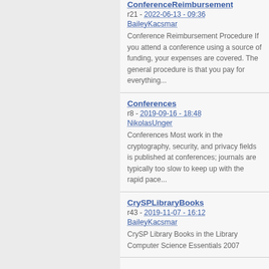ConferenceReimbursement
r21 - 2022-06-13 - 09:36 BaileyKacsmar
Conference Reimbursement Procedure If you attend a conference using a source of funding, your expenses are covered. The general procedure is that you pay for everything...
Conferences
r8 - 2019-09-16 - 18:48 NikolasUnger
Conferences Most work in the cryptography, security, and privacy fields is published at conferences; journals are typically too slow to keep up with the rapid pace...
CrySPLibraryBooks
r43 - 2019-11-07 - 16:12 BaileyKacsmar
CrySP Library Books in the Library Computer Science Essentials 2007